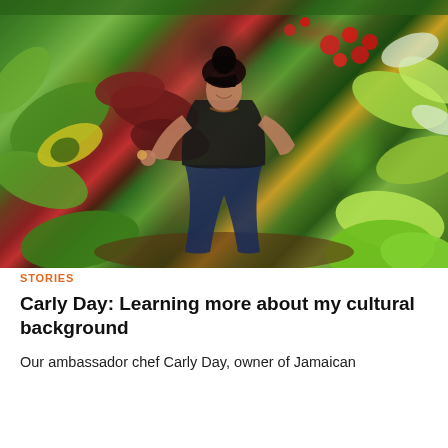[Figure (photo): A smiling young woman with dark hair in a bun crouching among lush tropical plants and colorful foliage, holding a small fruit toward the camera. She is wearing a black tank top and dark jeans, barefoot, surrounded by green, red, and yellow tropical leaves.]
STORIES
Carly Day: Learning more about my cultural background
Our ambassador chef Carly Day, owner of Jamaican